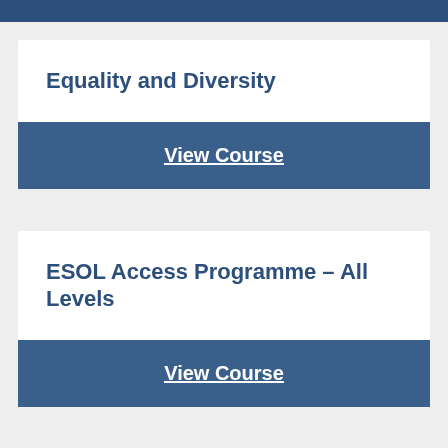Equality and Diversity
View Course
ESOL Access Programme – All Levels
View Course